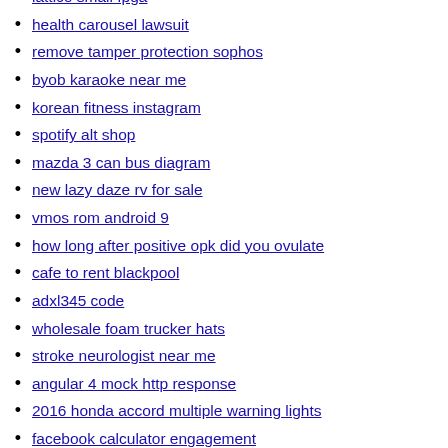lattice small fpga
health carousel lawsuit
remove tamper protection sophos
byob karaoke near me
korean fitness instagram
spotify alt shop
mazda 3 can bus diagram
new lazy daze rv for sale
vmos rom android 9
how long after positive opk did you ovulate
cafe to rent blackpool
adxl345 code
wholesale foam trucker hats
stroke neurologist near me
angular 4 mock http response
2016 honda accord multiple warning lights
facebook calculator engagement
ironman hypixel skyblock guide
koll mtg
basic calculator in python
kawaii stardew valley mods
delaware police hiring
lip gallagher x reader wife
blue ox trailer hitch
nc pick 4 past drawings